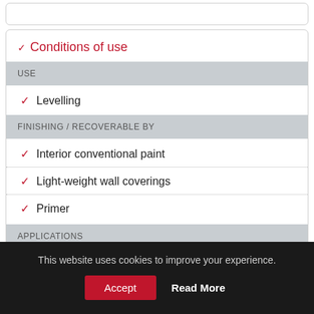Conditions of use
USE
Levelling
FINISHING / RECOVERABLE BY
Interior conventional paint
Light-weight wall coverings
Primer
APPLICATIONS
This website uses cookies to improve your experience.
Accept
Read More